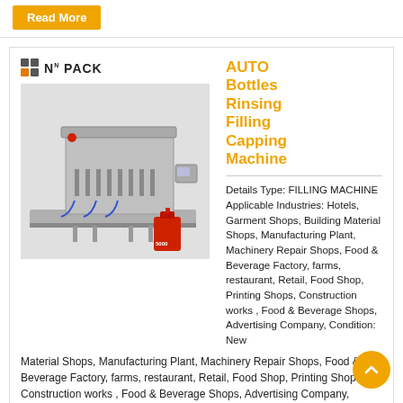Read More
[Figure (photo): AUTO Bottles Rinsing Filling Capping Machine shown in a product card with NNPack logo and a red jerry can]
AUTO Bottles Rinsing Filling Capping Machine
Details Type: FILLING MACHINE Applicable Industries: Hotels, Garment Shops, Building Material Shops, Manufacturing Plant, Machinery Repair Shops, Food & Beverage Factory, farms, restaurant, Retail, Food Shop, Printing Shops, Construction works , Food & Beverage Shops, Advertising Company, Condition: New